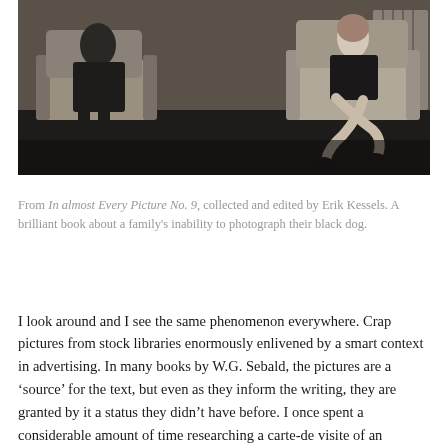[Figure (photo): Black and white photograph showing two people seated in armchairs. A man sits on the left and a woman sits on the right with crossed legs. The room has a carpeted floor and a radiator visible in the background.]
From In almost Every Picture No. 9, collected and edited by Erik Kessels. A brilliant book about a family's inability to photograph their black dog.
I look around and I see the same phenomenon everywhere. Crap pictures from stock libraries enormously enlivened by a smart context in advertising. In many books by W.G. Sebald, the pictures are a ‘source’ for the text, but even as they inform the writing, they are granted by it a status they didn’t have before. I once spent a considerable amount of time researching a carte-de visite of an unnamed young man. It remains probable (but I was never